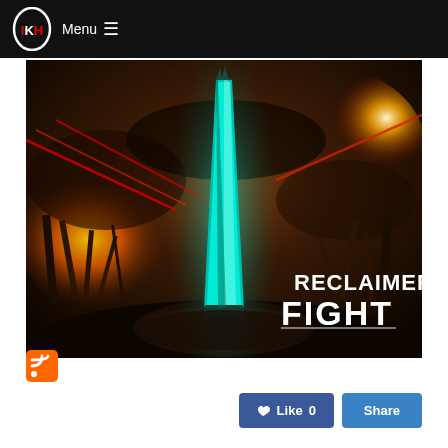Menu ☰
[Figure (illustration): Fantasy battle scene artwork showing a glowing teal/cyan sword or blade planted in rocky ground in the foreground, with a burning, apocalyptic landscape of ruins in the background. Red beam weapons fire across a smoky sky. White text overlay reads 'RECLAIMERS FIGHT' in the lower-right corner.]
[Figure (logo): Orange RSS feed icon (square with rounded top-right corner, showing two curved lines and a dot in the lower-left)]
Like 0
Share